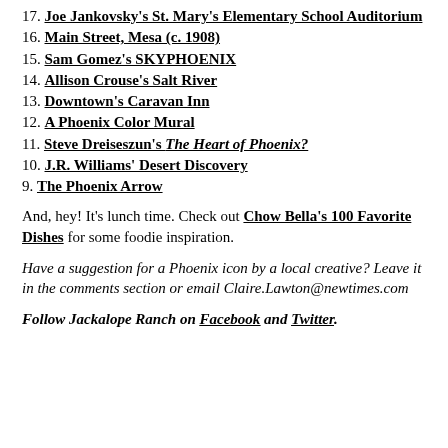17. Joe Jankovsky's St. Mary's Elementary School Auditorium
16. Main Street, Mesa (c. 1908)
15. Sam Gomez's SKYPHOENIX
14. Allison Crouse's Salt River
13. Downtown's Caravan Inn
12. A Phoenix Color Mural
11. Steve Dreiseszun's The Heart of Phoenix?
10. J.R. Williams' Desert Discovery
9. The Phoenix Arrow
And, hey! It's lunch time. Check out Chow Bella's 100 Favorite Dishes for some foodie inspiration.
Have a suggestion for a Phoenix icon by a local creative? Leave it in the comments section or email Claire.Lawton@newtimes.com
Follow Jackalope Ranch on Facebook and Twitter.